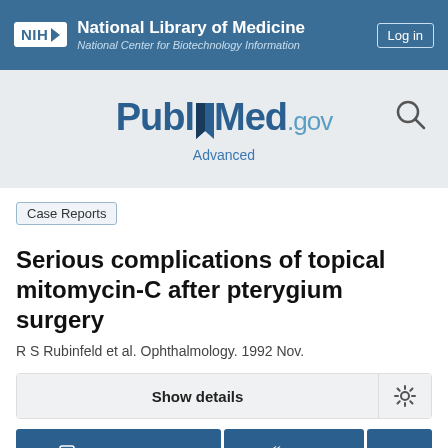NIH National Library of Medicine National Center for Biotechnology Information | Log in
[Figure (logo): PubMed.gov logo with search bar area and Advanced link]
Case Reports
Serious complications of topical mitomycin-C after pterygium surgery
R S Rubinfeld et al. Ophthalmology. 1992 Nov.
Show details
Full text links | Cite | ...